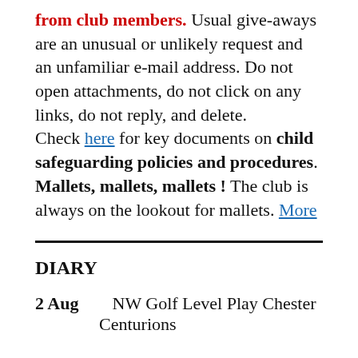from club members. Usual give-aways are an unusual or unlikely request and an unfamiliar e-mail address. Do not open attachments, do not click on any links, do not reply, and delete.
Check here for key documents on child safeguarding policies and procedures.
Mallets, mallets, mallets ! The club is always on the lookout for mallets. More
DIARY
2 Aug    NW Golf Level Play Chester Centurions